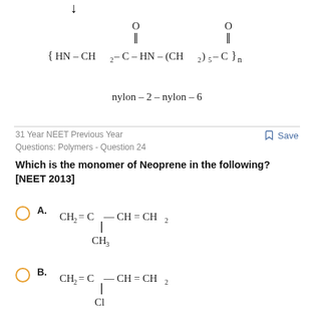[Figure (schematic): Downward arrow indicating continuation from previous content]
nylon – 2 – nylon – 6
31 Year NEET Previous Year Questions: Polymers - Question 24
Save
Which is the monomer of Neoprene in the following? [NEET 2013]
A. CH2 = C— CH = CH2 with CH3 substituent below C
B. CH2 = C— CH = CH2 with Cl substituent below C